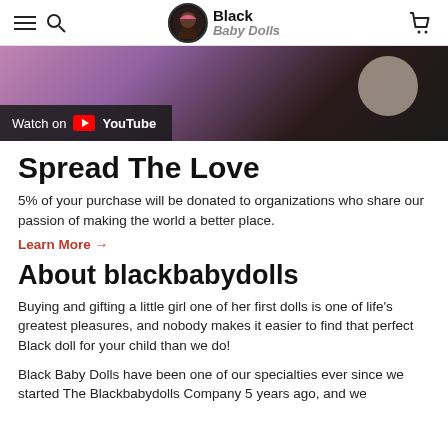Black Baby Dolls
[Figure (screenshot): YouTube video thumbnail showing a child with dolls, with a 'Watch on YouTube' overlay in the lower left corner]
Spread The Love
5% of your purchase will be donated to organizations who share our passion of making the world a better place.
Learn More →
About blackbabydolls
Buying and gifting a little girl one of her first dolls is one of life's greatest pleasures, and nobody makes it easier to find that perfect Black doll for your child than we do!
Black Baby Dolls have been one of our specialties ever since we started The Blackbabydolls Company 5 years ago, and we